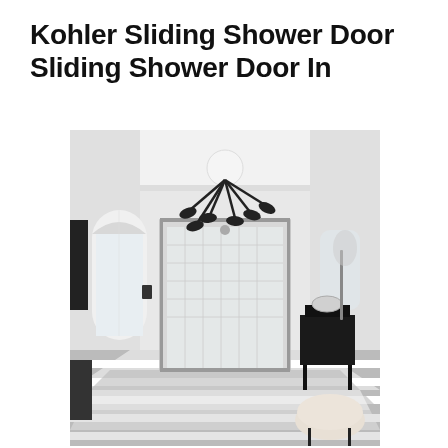Kohler Sliding Shower Door Sliding Shower Door In
[Figure (photo): Black and white photo of a luxurious bathroom interior featuring a sliding shower door, black multi-arm ceiling light fixture, arched window, black and white checkered/striped floor, vanity with vessel sink, and a fluffy white stool.]